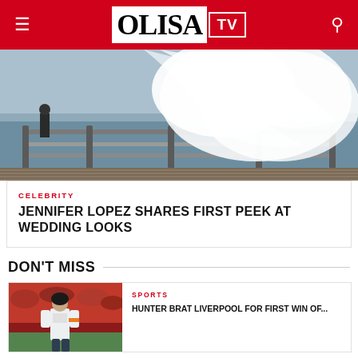OLISA TV
[Figure (photo): Wedding scene with a bride in a large white dress/veil on a pier with railings and water in the background]
CELEBRITY
JENNIFER LOPEZ SHARES FIRST PEEK AT WEDDING LOOKS
DON'T MISS
[Figure (photo): Sports player in white jersey on a football pitch with crowd in background]
SPORTS
HUNTER BRAT LIVERPOOL FOR FIRST WIN OF...